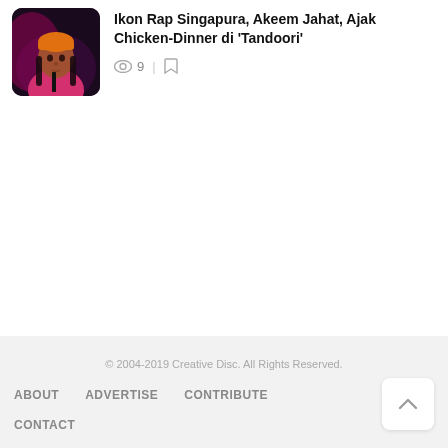[Figure (photo): Thumbnail photo of a person wearing an orange beanie and pink/red outfit against a dark purple background]
Ikon Rap Singapura, Akeem Jahat, Ajak Chicken-Dinner di 'Tandoori'
9
© 2004-2019 Creative Disc. All Rights Reserved.
ABOUT   ADVERTISE   CONTRIBUTE
CONTACT